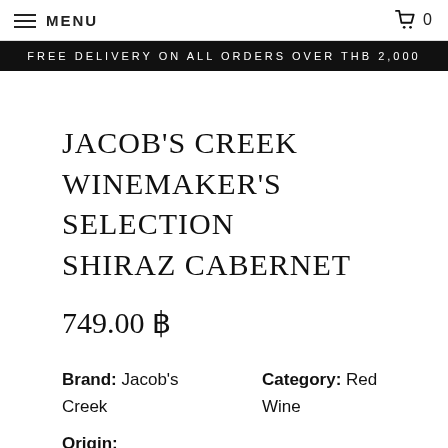MENU  0
FREE DELIVERY ON ALL ORDERS OVER THB 2,000
JACOB'S CREEK WINEMAKER'S SELECTION SHIRAZ CABERNET
749.00 ฿
Brand: Jacob's Creek   Category: Red Wine   Origin: Australia   SKU: